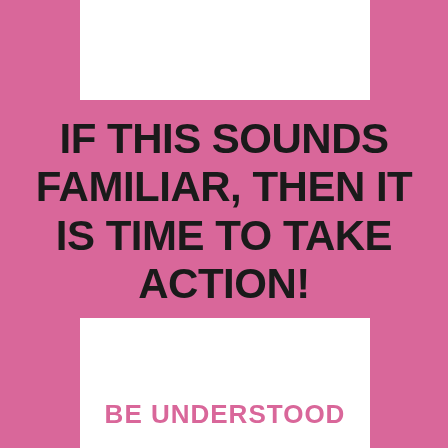IF THIS SOUNDS FAMILIAR, THEN IT IS TIME TO TAKE ACTION!
BE UNDERSTOOD